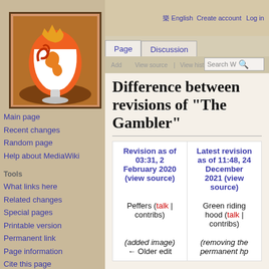English  Create account  Log in
[Figure (logo): Wiki logo: stylized colorful goblet/cup design with orange and red swirls on brown background]
Page  Discussion
Add  View source  View history  Search W
Difference between revisions of "The Gambler"
Main page
Recent changes
Random page
Help about MediaWiki
Tools
What links here
Related changes
Special pages
Printable version
Permanent link
Page information
Cite this page
| Revision as of 03:31, 2 February 2020 (view source) | Latest revision as of 11:48, 24 December 2021 (view source) |
| --- | --- |
| Peffers (talk | contribs) | Green riding hood (talk | contribs) |
| (added image) | (removing the permanent hp |
| ← Older edit |  |